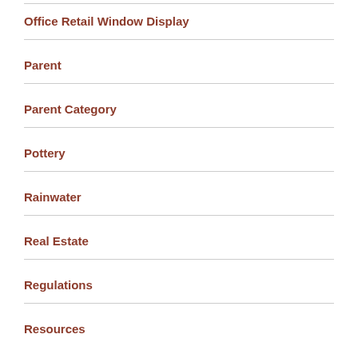Office Retail Window Display
Parent
Parent Category
Pottery
Rainwater
Real Estate
Regulations
Resources